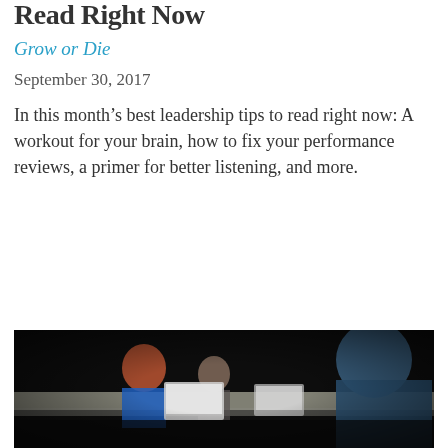Read Right Now
Grow or Die
September 30, 2017
In this month’s best leadership tips to read right now: A workout for your brain, how to fix your performance reviews, a primer for better listening, and more.
Read Article
[Figure (photo): People seated at a conference table with laptops in a dimly lit meeting room, viewed from behind a man in a blue shirt in the foreground.]